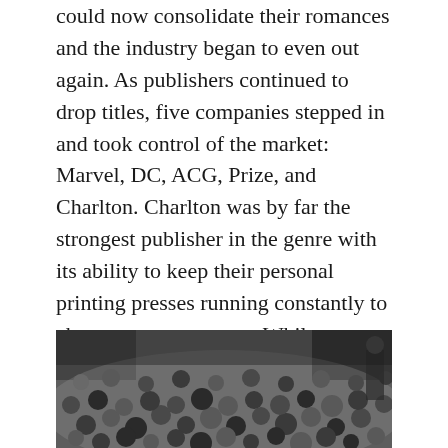could now consolidate their romances and the industry began to even out again. As publishers continued to drop titles, five companies stepped in and took control of the market: Marvel, DC, ACG, Prize, and Charlton. Charlton was by far the strongest publisher in the genre with its ability to keep their personal printing presses running constantly to churn out new content. While many publishers continued to falter during the 50's, Charlton kept chugging along as evidenced by The Kirby Museum's third graph. It would take another two decades before romance comics disappeared for good, and this is partly to do with Charlton's tenacity.
[Figure (photo): Black and white photograph of a large crowd of people, mostly children and young people, densely packed together]